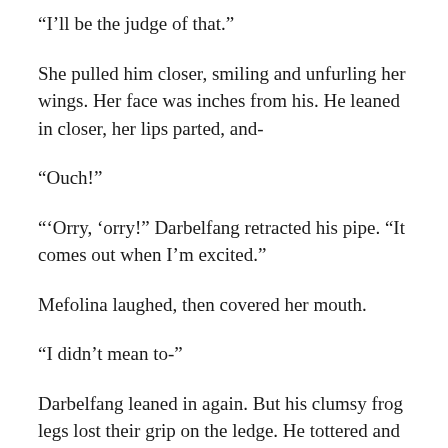“I’ll be the judge of that.”
She pulled him closer, smiling and unfurling her wings. Her face was inches from his. He leaned in closer, her lips parted, and-
“Ouch!”
“’Orry, ‘orry!” Darbelfang retracted his pipe. “It comes out when I’m excited.”
Mefolina laughed, then covered her mouth.
“I didn’t mean to-”
Darbelfang leaned in again. But his clumsy frog legs lost their grip on the ledge. He tottered and started to fall...